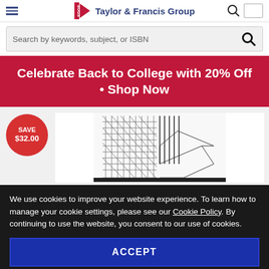Taylor & Francis Group
Search by keywords, subject, or ISBN
Celebrate Back to College with 20% Off • Shop Now
[Figure (illustration): Book product image with a geometric/architectural line-art cover design on a light gray background, with a red circular badge showing SAVE $32.00]
We use cookies to improve your website experience. To learn how to manage your cookie settings, please see our Cookie Policy. By continuing to use the website, you consent to our use of cookies.
ACCEPT